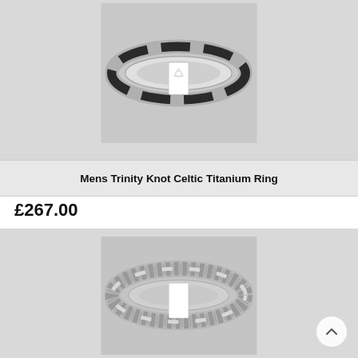[Figure (photo): Photo of a Mens Trinity Knot Celtic Titanium Ring — silver-colored band with dark rectangular panels engraved with trinity knot Celtic symbols, shown from above on a white/grey background.]
Mens Trinity Knot Celtic Titanium Ring
£267.00
[Figure (photo): Photo of a second Celtic titanium ring — wider silver band with an all-over engraved geometric/flower-of-life pattern, displayed on a white/grey background.]